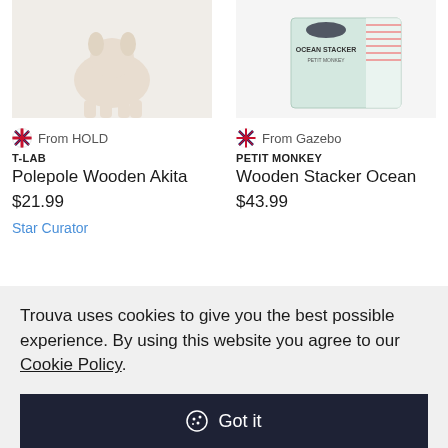[Figure (photo): Top portion of a white/cream wooden dog figurine (Akita) on light background]
[Figure (photo): Top portion of Wooden Stacker Ocean product box on light background]
From HOLD
T-LAB
Polepole Wooden Akita
$21.99
Star Curator
From Gazebo
PETIT MONKEY
Wooden Stacker Ocean
$43.99
[Figure (photo): Colorful geometric shapes/cards product image with heart icon overlay]
[Figure (photo): Baby/child with product on light background with heart icon]
Trouva uses cookies to give you the best possible experience. By using this website you agree to our Cookie Policy.
Got it